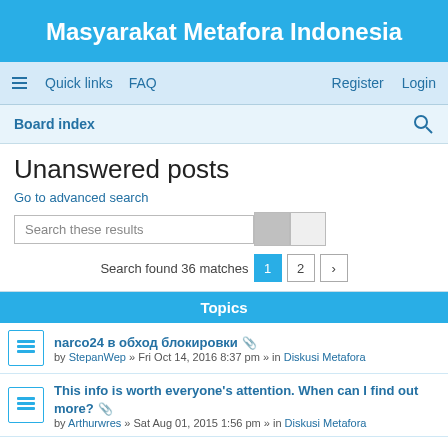Masyarakat Metafora Indonesia
Quick links  FAQ  Register  Login
Board index
Unanswered posts
Go to advanced search
Search these results
Search found 36 matches  1  2  >
Topics
narco24 в обход блокировки [attachment] by StepanWep » Fri Oct 14, 2016 8:37 pm » in Diskusi Metafora
This info is worth everyone's attention. When can I find out more? [attachment] by Arthurwres » Sat Aug 01, 2015 1:56 pm » in Diskusi Metafora
This post is worth everyone's attention. Where can I find out more? by Arthurwres » Sat Aug 01, 2015 5:20 am » in Diskusi Metafora
Right here is the perfect website [attachment] by Arthurwres » Sat Jul 18, 2015 3:36 pm » in Diskusi Metafora
Hello, always i used to check weblog [attachment]